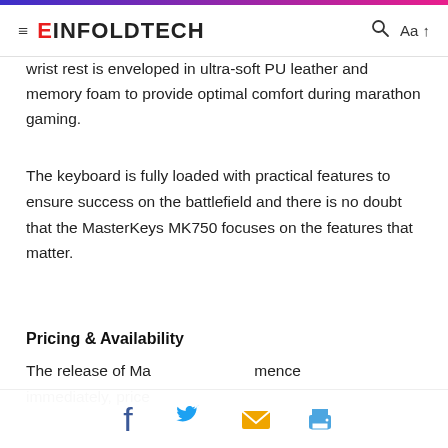EINFOLDTECH
wrist rest is enveloped in ultra-soft PU leather and memory foam to provide optimal comfort during marathon gaming.
The keyboard is fully loaded with practical features to ensure success on the battlefield and there is no doubt that the MasterKeys MK750 focuses on the features that matter.
Pricing & Availability
The release of Ma mence immediately, price